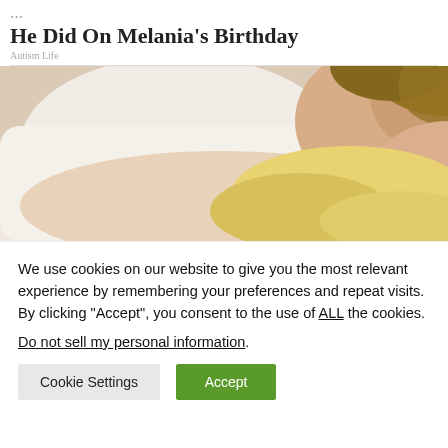He Did On Melania's Birthday
Autism Life
[Figure (photo): A couple sleeping together; a man with curly brown hair and a woman with blonde hair lying on pillows]
We use cookies on our website to give you the most relevant experience by remembering your preferences and repeat visits. By clicking “Accept”, you consent to the use of ALL the cookies.
Do not sell my personal information.